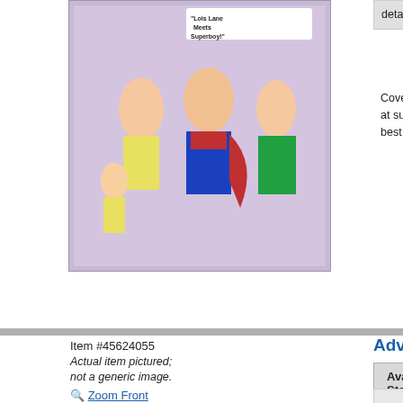[Figure (photo): Comic book cover image at top - Lois Lane Meets Superboy]
detached. Staple rust. Rust migration.
Cover pencils by Curt Swan, inks by Stan Kaye and Lana Lang meet at summer camp. The Cu wizard predicts Oliver Queen will kill his best fr Animal-Master!, art by Ramona Fradon. 36 pa
Item #45624055
Actual item pictured; not a generic image.
Zoom Front Cover
[Figure (photo): Adventure Comics comic book cover image]
Adventure Comics (1938 1st Series) #2
Available Stock
Add to my want list
$40.00
Add to cart VG+ 4.5
Cover pencils by Curt Swan, inks by Stan Kaye Kent hires a private detective to discover Supe Bernstein, art by Lee Elias; Speedy takes up o but he catches onto their scheme. The Great C Cover price $0.10.